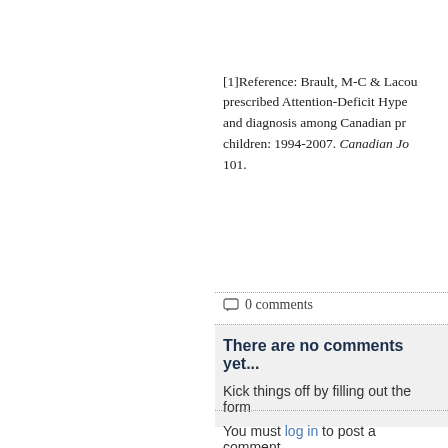[1]Reference: Brault, M-C & Lacou... prescribed Attention-Deficit Hype... and diagnosis among Canadian pr... children: 1994-2007. Canadian Jo... 101.
0 comments
There are no comments yet...
Kick things off by filling out the form...
You must log in to post a comment.